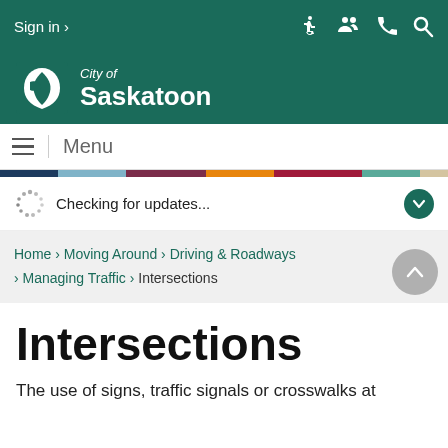Sign in ›
[Figure (logo): City of Saskatoon logo with white leaf/shield icon and italic 'City of' above bold 'Saskatoon' text on teal background]
Menu
Checking for updates...
Home › Moving Around › Driving & Roadways › Managing Traffic › Intersections
Intersections
The use of signs, traffic signals or crosswalks at